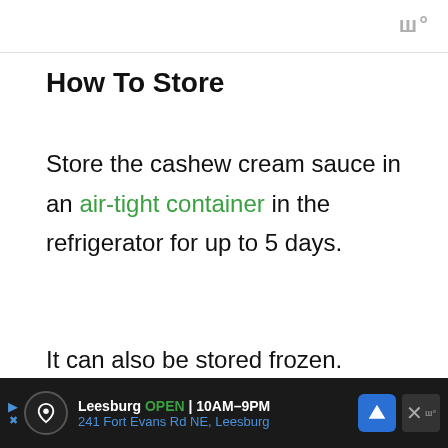w°
How To Store
Store the cashew cream sauce in an air-tight container in the refrigerator for up to 5 days.
It can also be stored frozen.
[Figure (photo): Partial image of cashew cream sauce, gray background visible at bottom of page]
Leesburg OPEN 10AM–9PM 241 Fort Evans Rd NE, Leesburg